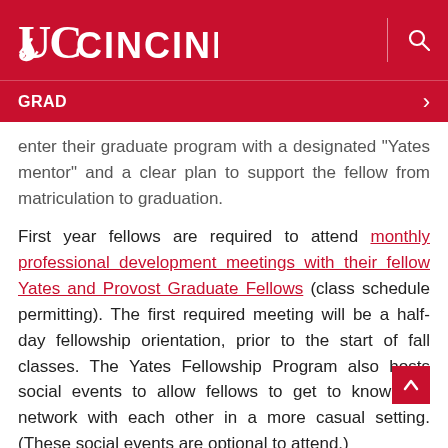UC CINCINNATI
GRAD
enter their graduate program with a designated "Yates mentor" and a clear plan to support the fellow from matriculation to graduation.
First year fellows are required to attend monthly professional development meetings with their fellow Yates and Provost Graduate Fellows (class schedule permitting). The first required meeting will be a half-day fellowship orientation, prior to the start of fall classes. The Yates Fellowship Program also hosts social events to allow fellows to get to know and network with each other in a more casual setting. (These social events are optional to attend.)
First year fellows are also required to complete and